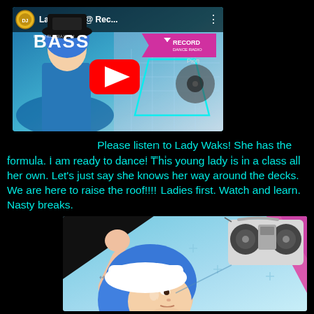[Figure (screenshot): YouTube video thumbnail showing Lady Waks @ Rec... with DJ artwork featuring blue-haired female DJ, BASS text, RECORD Dance Radio banner, and red play button]
Please listen to Lady Waks! She has the formula. I am ready to dance! This young lady is in a class all her own. Let's just say she knows her way around the decks. We are here to raise the roof!!!! Ladies first. Watch and learn. Nasty breaks.
[Figure (illustration): Comic-style illustration of blue-haired female DJ looking up, with boombox in background, pink geometric shapes, tattoos on arm visible]